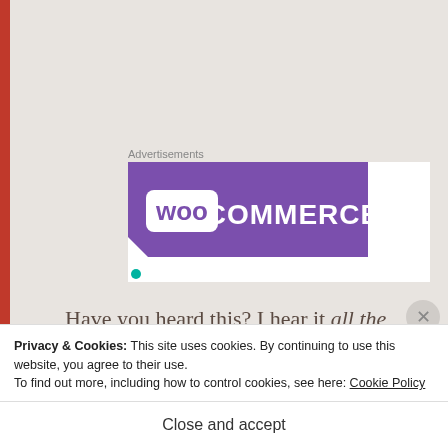Advertisements
[Figure (logo): WooCommerce logo on purple banner background]
Have you heard this? I hear it all the time. In fact, after telling a friend about how much this utterance makes me cringe, she reported back that after a day of teaching, she'd heard it no fewer
Privacy & Cookies: This site uses cookies. By continuing to use this website, you agree to their use.
To find out more, including how to control cookies, see here: Cookie Policy
Close and accept